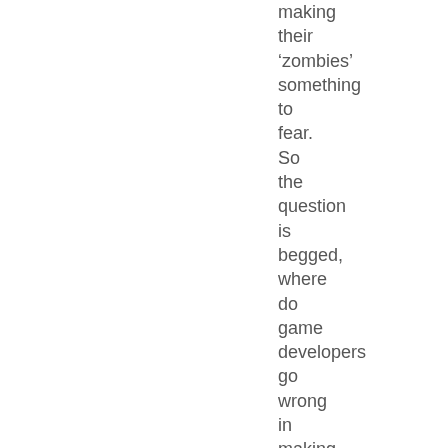making their ‘zombies’ something to fear. So the question is begged, where do game developers go wrong in making “zombie games?” Games make zombies sheep